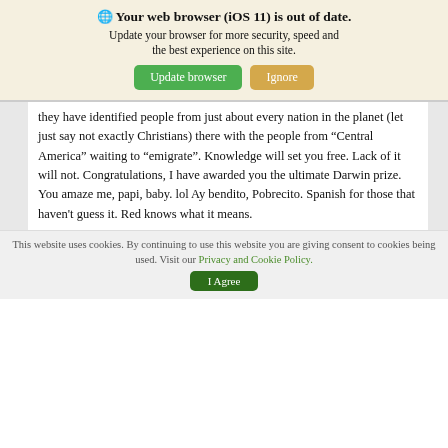🌐 Your web browser (iOS 11) is out of date. Update your browser for more security, speed and the best experience on this site. [Update browser] [Ignore]
they have identified people from just about every nation in the planet (let just say not exactly Christians) there with the people from “Central America” waiting to “emigrate”. Knowledge will set you free. Lack of it will not. Congratulations, I have awarded you the ultimate Darwin prize. You amaze me, papi, baby. lol Ay bendito, Pobrecito. Spanish for those that haven’t guess it. Red knows what it means.
This website uses cookies. By continuing to use this website you are giving consent to cookies being used. Visit our Privacy and Cookie Policy. [I Agree]